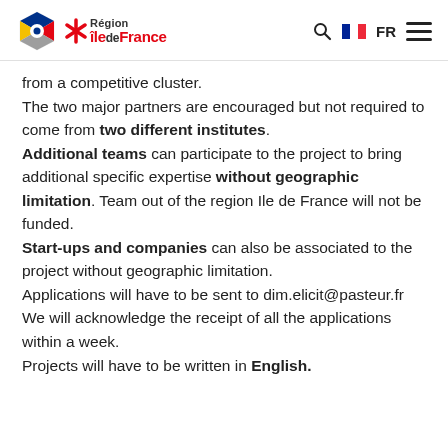Région Île-de-France
from a competitive cluster.
The two major partners are encouraged but not required to come from two different institutes.
Additional teams can participate to the project to bring additional specific expertise without geographic limitation. Team out of the region Ile de France will not be funded.
Start-ups and companies can also be associated to the project without geographic limitation.
Applications will have to be sent to dim.elicit@pasteur.fr
We will acknowledge the receipt of all the applications within a week.
Projects will have to be written in English.